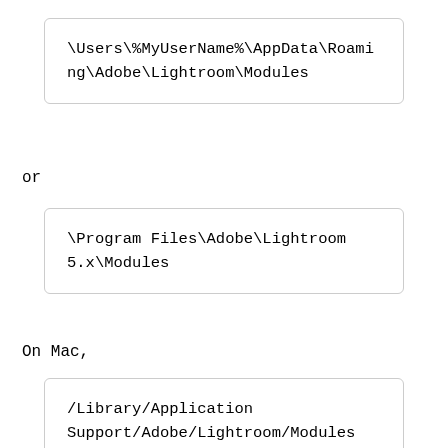\Users\%MyUserName%\AppData\Roaming\Adobe\Lightroom\Modules
or
\Program Files\Adobe\Lightroom 5.x\Modules
On Mac,
/Library/Application Support/Adobe/Lightroom/Modules